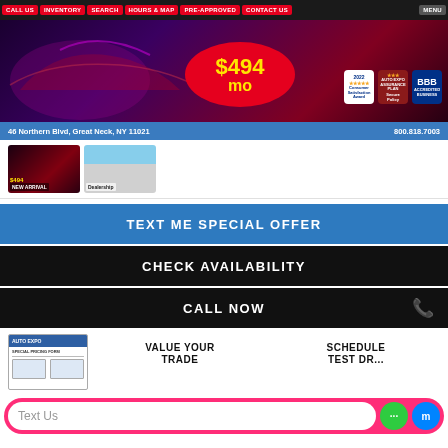CALL US | INVENTORY | SEARCH | HOURS & MAP | PRE-APPROVED | CONTACT US | MENU
[Figure (screenshot): Car dealership hero banner with red car silhouette on dark purple background, $494/mo price in yellow on red oval, Consumer Satisfaction Award 2022, Auto Expo Assurance Plan, and BBB Accredited Business badges, address 46 Northern Blvd, Great Neck, NY 11021, phone 800.818.7003]
[Figure (photo): Two thumbnail images: first showing a veiled car with $494 price tag in red glow, second showing dealership storefront]
TEXT ME SPECIAL OFFER
CHECK AVAILABILITY
CALL NOW
[Figure (screenshot): Document thumbnail showing a pricing sheet or trade form]
VALUE YOUR TRADE
SCHEDULE TEST DR...
Text Us